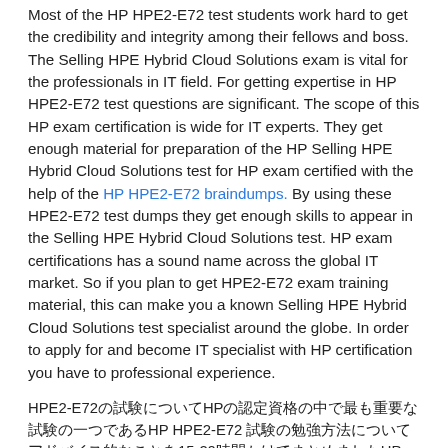Most of the HP HPE2-E72 test students work hard to get the credibility and integrity among their fellows and boss. The Selling HPE Hybrid Cloud Solutions exam is vital for the professionals in IT field. For getting expertise in HP HPE2-E72 test questions are significant. The scope of this HP exam certification is wide for IT experts. They get enough material for preparation of the HP Selling HPE Hybrid Cloud Solutions test for HP exam certified with the help of the HP HPE2-E72 braindumps. By using these HPE2-E72 test dumps they get enough skills to appear in the Selling HPE Hybrid Cloud Solutions test. HP exam certifications has a sound name across the global IT market. So if you plan to get HPE2-E72 exam training material, this can make you a known Selling HPE Hybrid Cloud Solutions test specialist around the globe. In order to apply for and become IT specialist with HP certification you have to professional experience.
HPE2-E72の試験についてHP認定資格の中で最も重要な試験の一つであるHP HPE2-E72 試験の勉強方法についてアドバイス的なことを15-20時間かけてまとめましたHP HPE2-E72 受験対策書は完全にljhssrnetのHP HPE2-E72 受験対策でございます一生懸命勉強してもljhssrnetが結局合格できないHP HPE2-E72 受験対策の参考書を読んでいても一向に合格できない状況に苦しんでいる方がたくさんいらっしゃいます HP のHPE2-E72受験に合格するためにljhssrnetを利用する Ijhssrnet HPのHPE2-E72試験では出題範囲が非常に広く試験に出る可能性のある内容を全て網羅したコンテンツです